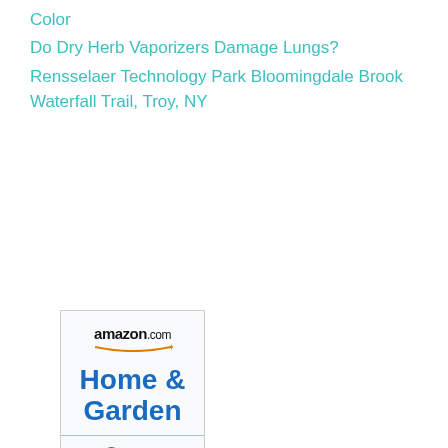Color
Do Dry Herb Vaporizers Damage Lungs?
Rensselaer Technology Park Bloomingdale Brook Waterfall Trail, Troy, NY
[Figure (illustration): Amazon.com advertisement banner for Home & Garden category, showing the Amazon logo, 'Home & Garden' heading, 'Over a Thousand Markdowns Every Day' text, a Shop now call-to-action link, and a partial image of green garden items at the bottom.]